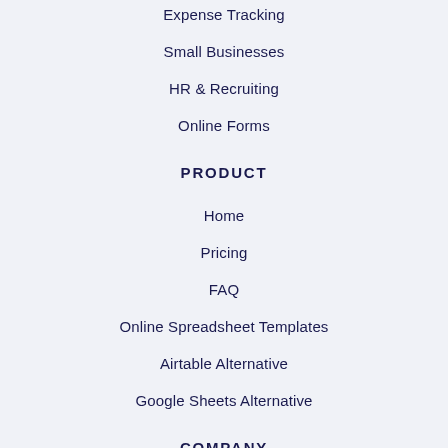Expense Tracking
Small Businesses
HR & Recruiting
Online Forms
PRODUCT
Home
Pricing
FAQ
Online Spreadsheet Templates
Airtable Alternative
Google Sheets Alternative
COMPANY